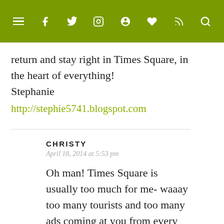≡ f 𝕥 ⊕ ♥ ))) 🔍
return and stay right in Times Square, in the heart of everything! Stephanie
http://stephie5741.blogspot.com
CHRISTY
April 18, 2014 at 5:53 pm
Oh man! Times Square is usually too much for me- waaay too many tourists and too many ads coming at you from every direction. But it's all right for a short period of time, for